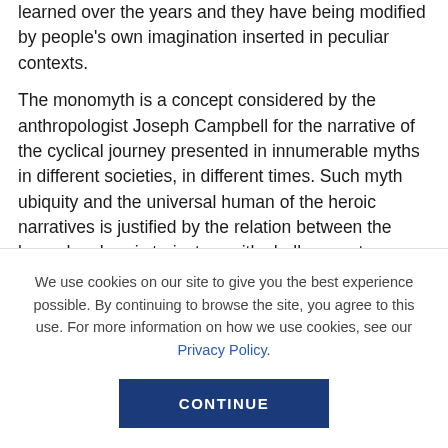learned over the years and they have being modified by people's own imagination inserted in peculiar contexts.
The monomyth is a concept considered by the anthropologist Joseph Campbell for the narrative of the cyclical journey presented in innumerable myths in different societies, in different times. Such myth ubiquity and the universal human of the heroic narratives is justified by the relation between the legendary heroic trajectory with challenges, traps and occasional rewards in each human being psychological
We use cookies on our site to give you the best experience possible. By continuing to browse the site, you agree to this use. For more information on how we use cookies, see our Privacy Policy.